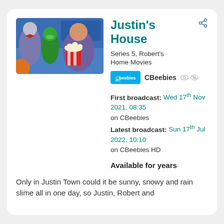[Figure (photo): Justin's House TV show still showing characters including a robot, a green puppet, and a man holding popcorn]
Justin's House
Series 5, Robert's Home Movies
CBeebies
First broadcast: Wed 17th Nov 2021, 08:35 on CBeebies
Latest broadcast: Sun 17th Jul 2022, 10:10 on CBeebies HD
Available for years
Only in Justin Town could it be sunny, snowy and rain slime all in one day, so Justin, Robert and